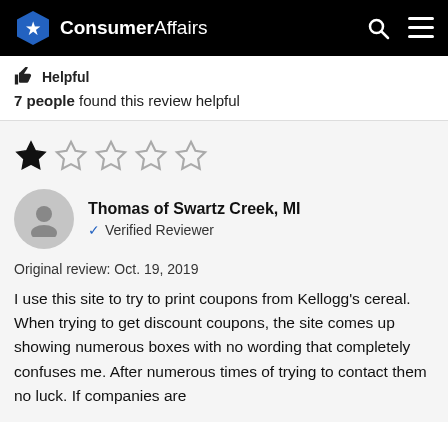ConsumerAffairs
👍 Helpful
7 people found this review helpful
[Figure (other): 1 out of 5 stars rating — one filled star and four empty stars]
Thomas of Swartz Creek, MI
✓ Verified Reviewer
Original review: Oct. 19, 2019
I use this site to try to print coupons from Kellogg's cereal. When trying to get discount coupons, the site comes up showing numerous boxes with no wording that completely confuses me. After numerous times of trying to contact them no luck. If companies are